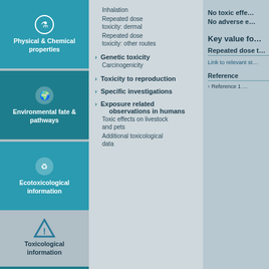[Figure (infographic): Left sidebar with teal boxes containing icons and labels: Physical & Chemical properties, Environmental fate & pathways, Ecotoxicological information, Toxicological information (warning icon), and additional teal boxes below]
Inhalation
Repeated dose toxicity: Inhalation: dermal
Repeated dose toxicity: Inhalation: other routes
Genetic toxicity
Carcinogenicity
Toxicity to reproduction
Specific investigations
Exposure related observations in humans
Toxic effects on livestock and pets
Additional toxicological data
No toxic effe… No adverse e…
Key value fo…
Repeated dose t…
Link to relevant st…
Reference
Reference 1 …